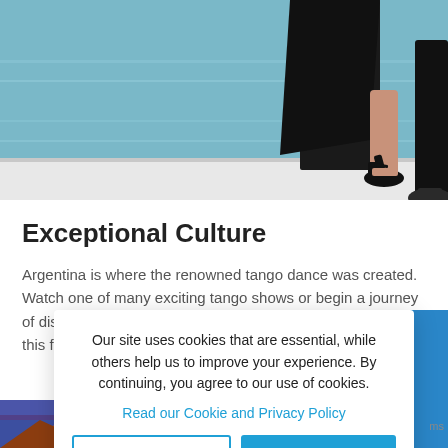[Figure (photo): Dancers' legs and feet in tango pose near water, woman in black heels, man in black shoes]
Exceptional Culture
Argentina is where the renowned tango dance was created. Watch one of many exciting tango shows or begin a journey of discovery at a variety of dance salons and schools. Let this famous dance change your life.
[Figure (photo): Mountainous landscape at dusk with orange-red rocky peak against purple-blue sky]
Our site uses cookies that are essential, while others help us to improve your experience. By continuing, you agree to our use of cookies.
Read our Cookie and Privacy Policy
Dismiss
Got it!